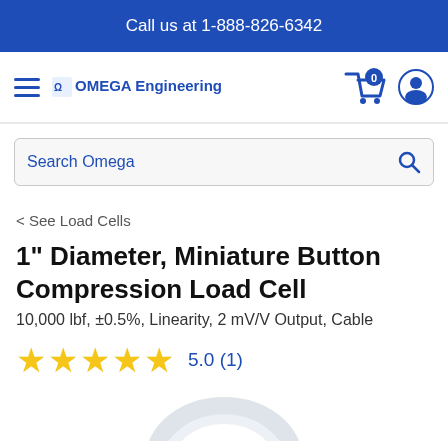Call us at 1-888-826-6342
[Figure (logo): OMEGA Engineering logo with hamburger menu, cart icon showing 0 items, and user account icon]
[Figure (screenshot): Search bar with placeholder text 'Search Omega' and search icon]
< See Load Cells
1" Diameter, Miniature Button Compression Load Cell
10,000 lbf, ±0.5%, Linearity, 2 mV/V Output, Cable
★★★★★ 5.0 (1)
[Figure (photo): Partial product image of miniature button compression load cell, white/grey colored, shown at bottom of page]